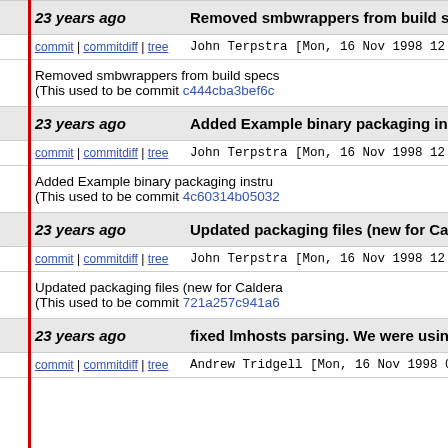23 years ago | Removed smbwrappers from build sp...
commit | commitdiff | tree  John Terpstra [Mon, 16 Nov 1998 12:2...
Removed smbwrappers from build specs (This used to be commit c444cba3bef6c...
23 years ago | Added Example binary packaging inst...
commit | commitdiff | tree  John Terpstra [Mon, 16 Nov 1998 12:21...
Added Example binary packaging instru... (This used to be commit 4c60314b05032...
23 years ago | Updated packaging files (new for Calc...
commit | commitdiff | tree  John Terpstra [Mon, 16 Nov 1998 12:03...
Updated packaging files (new for Caldera... (This used to be commit 721a257c941a6...
23 years ago | fixed lmhosts parsing. We were using...
commit | commitdiff | tree  Andrew Tridgell [Mon, 16 Nov 1998 01...